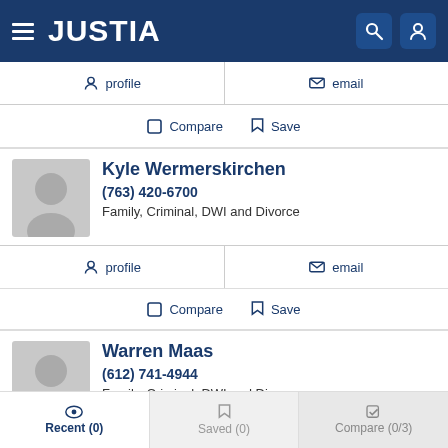JUSTIA
profile   email
Compare   Save
Kyle Wermerskirchen
(763) 420-6700
Family, Criminal, DWI and Divorce
profile   email
Compare   Save
Warren Maas
(612) 741-4944
Family, Criminal, DWI and Divorce
Recent (0)   Saved (0)   Compare (0/3)